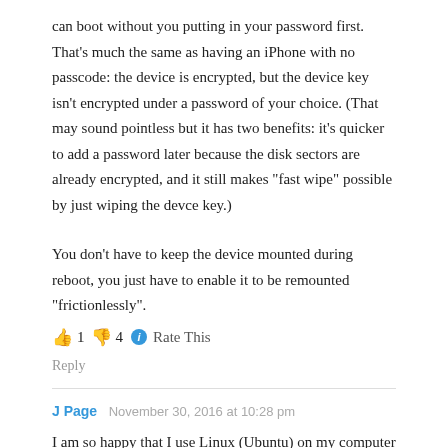can boot without you putting in your password first. That's much the same as having an iPhone with no passcode: the device is encrypted, but the device key isn't encrypted under a password of your choice. (That may sound pointless but it has two benefits: it's quicker to add a password later because the disk sectors are already encrypted, and it still makes “fast wipe” possible by just wiping the devce key.)
You don’t have to keep the device mounted during reboot, you just have to enable it to be remounted “frictionlessly”.
👍 1 👎 4 ℹ Rate This
Reply
J Page   November 30, 2016 at 10:28 pm
I am so happy that I use Linux (Ubuntu) on my computer and